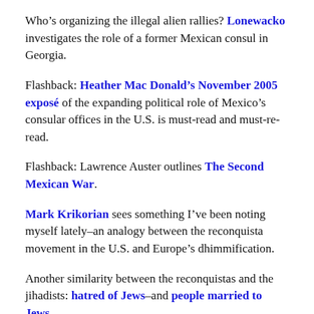Who's organizing the illegal alien rallies? Lonewacko investigates the role of a former Mexican consul in Georgia.
Flashback: Heather Mac Donald's November 2005 exposé of the expanding political role of Mexico's consular offices in the U.S. is must-read and must-re-read.
Flashback: Lawrence Auster outlines The Second Mexican War.
Mark Krikorian sees something I've been noting myself lately–an analogy between the reconquista movement in the U.S. and Europe's dhimmification.
Another similarity between the reconquistas and the jihadists: hatred of Jews–and people married to Jews.
Tom Tancredo is not afraid of the demonizers.